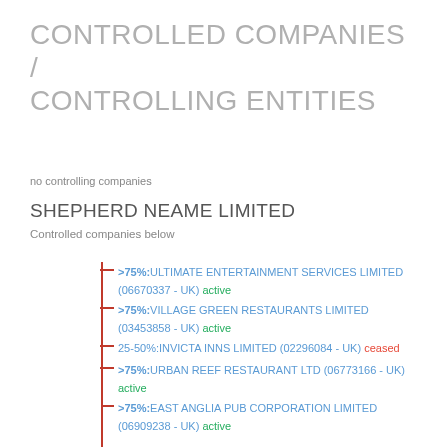CONTROLLED COMPANIES / CONTROLLING ENTITIES
no controlling companies
SHEPHERD NEAME LIMITED
Controlled companies below
>75%:ULTIMATE ENTERTAINMENT SERVICES LIMITED (06670337 - UK) active
>75%:VILLAGE GREEN RESTAURANTS LIMITED (03453858 - UK) active
25-50%:INVICTA INNS LIMITED (02296084 - UK) ceased
>75%:URBAN REEF RESTAURANT LTD (06773166 - UK) active
>75%:EAST ANGLIA PUB CORPORATION LIMITED (06909238 - UK) active